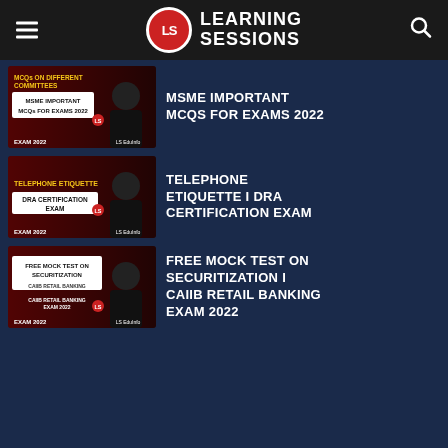Learning Sessions
[Figure (screenshot): Thumbnail for MSME Important MCQs video: dark red background, text 'MCQs on Different Committees', 'MSME IMPORTANT MCQs FOR EXAMS 2022', 'EXAM 2022', person in black jacket]
MSME IMPORTANT MCQs FOR EXAMS 2022
[Figure (screenshot): Thumbnail for Telephone Etiquette video: dark red background, text 'TELEPHONE ETIQUETTE', 'DRA CERTIFICATION EXAM', 'EXAM 2022', person in black jacket]
TELEPHONE ETIQUETTE I DRA CERTIFICATION EXAM
[Figure (screenshot): Thumbnail for Free Mock Test on Securitization video: dark red background, text 'FREE MOCK TEST ON SECURITIZATION', 'CAIIB RETAIL BANKING EXAM 2022', 'EXAM 2022', person in black jacket]
FREE MOCK TEST ON SECURITIZATION I CAIIB RETAIL BANKING EXAM 2022